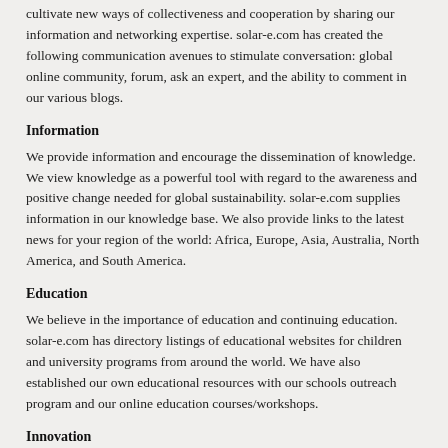cultivate new ways of collectiveness and cooperation by sharing our information and networking expertise. solar-e.com has created the following communication avenues to stimulate conversation: global online community, forum, ask an expert, and the ability to comment in our various blogs.
Information
We provide information and encourage the dissemination of knowledge. We view knowledge as a powerful tool with regard to the awareness and positive change needed for global sustainability. solar-e.com supplies information in our knowledge base. We also provide links to the latest news for your region of the world: Africa, Europe, Asia, Australia, North America, and South America.
Education
We believe in the importance of education and continuing education. solar-e.com has directory listings of educational websites for children and university programs from around the world. We have also established our own educational resources with our schools outreach program and our online education courses/workshops.
Innovation
We encourage the search for and the promotion of viable innovative solutions. solar-e.com facilitates innovators and inventors with viable ideas to network with researchers, financiers, and project managers to ensure that good ideas get a chance in the market place. Innovation is a major component of solar-e.com’s mission.
Tech